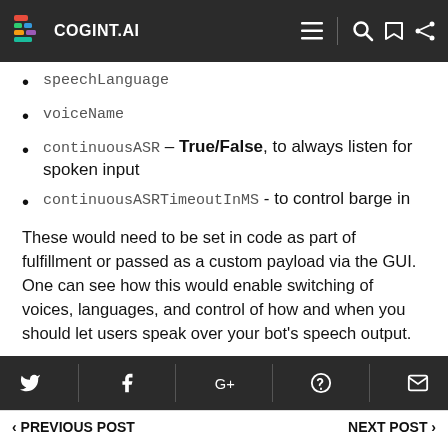COGINT.AI
speechLanguage
voiceName
continuousASR – True/False, to always listen for spoken input
continuousASRTimeoutInMS - to control barge in
These would need to be set in code as part of fulfillment or passed as a custom payload via the GUI. One can see how this would enable switching of voices, languages, and control of how and when you should let users speak over your bot's speech output.
PREVIOUS POST | NEXT POST